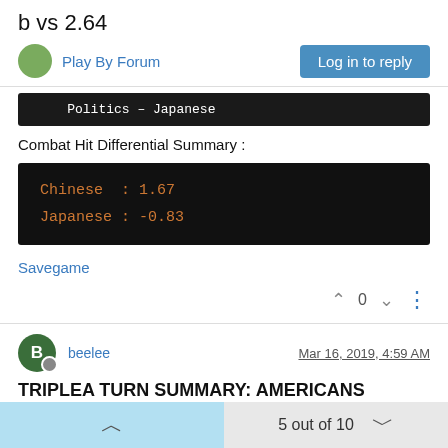b vs 2.64
Play By Forum
Politics – Japanese
Combat Hit Differential Summary :
Chinese : 1.67
Japanese : -0.83
Savegame
0
beelee
Mar 16, 2019, 4:59 AM
TRIPLEA TURN SUMMARY: AMERICANS ROUND 1
5 out of 10